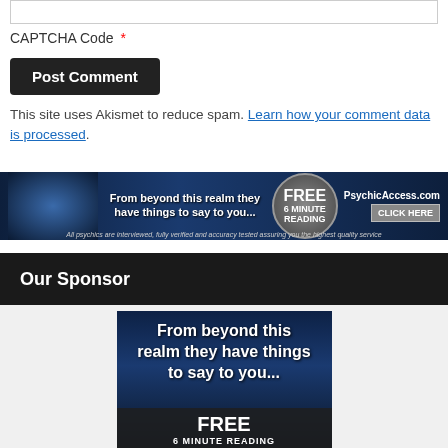CAPTCHA Code *
Post Comment
This site uses Akismet to reduce spam. Learn how your comment data is processed.
[Figure (infographic): PsychicAccess.com banner ad: 'From beyond this realm they have things to say to you... FREE 6 MINUTE READING CLICK HERE']
Our Sponsor
[Figure (infographic): PsychicAccess.com large banner ad: 'From beyond this realm they have things to say to you... FREE 6 MINUTE READING']